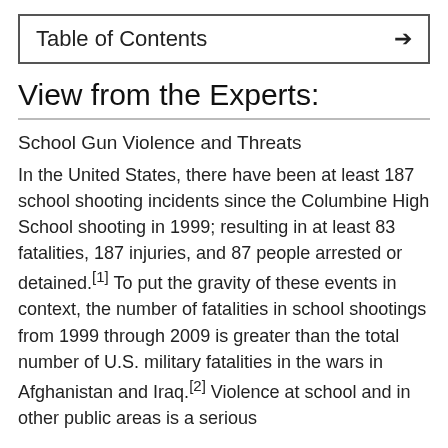Table of Contents →
View from the Experts:
School Gun Violence and Threats
In the United States, there have been at least 187 school shooting incidents since the Columbine High School shooting in 1999; resulting in at least 83 fatalities, 187 injuries, and 87 people arrested or detained.[1] To put the gravity of these events in context, the number of fatalities in school shootings from 1999 through 2009 is greater than the total number of U.S. military fatalities in the wars in Afghanistan and Iraq.[2] Violence at school and in other public areas is a serious